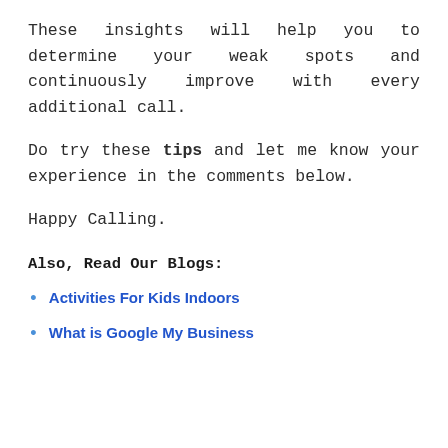These insights will help you to determine your weak spots and continuously improve with every additional call.
Do try these tips and let me know your experience in the comments below.
Happy Calling.
Also, Read Our Blogs:
Activities For Kids Indoors
What is Google My Business